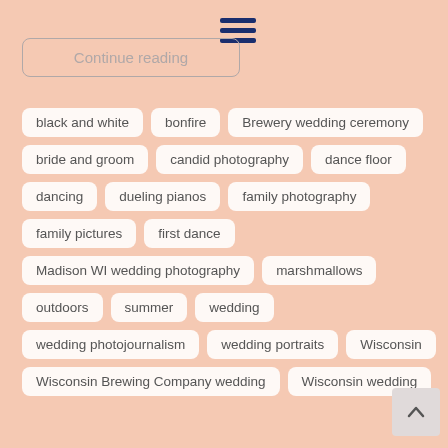[Figure (other): Hamburger menu icon with three dark blue horizontal lines]
Continue reading
black and white
bonfire
Brewery wedding ceremony
bride and groom
candid photography
dance floor
dancing
dueling pianos
family photography
family pictures
first dance
Madison WI wedding photography
marshmallows
outdoors
summer
wedding
wedding photojournalism
wedding portraits
Wisconsin
Wisconsin Brewing Company wedding
Wisconsin wedding